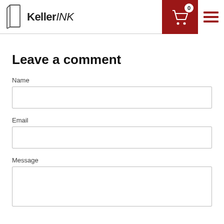KellerINK — header with cart (0) and menu
Leave a comment
Name
Email
Message